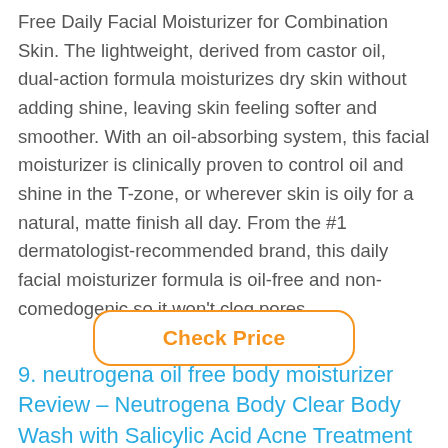Free Daily Facial Moisturizer for Combination Skin. The lightweight, derived from castor oil, dual-action formula moisturizes dry skin without adding shine, leaving skin feeling softer and smoother. With an oil-absorbing system, this facial moisturizer is clinically proven to control oil and shine in the T-zone, or wherever skin is oily for a natural, matte finish all day. From the #1 dermatologist-recommended brand, this daily facial moisturizer formula is oil-free and non-comedogenic so it won't clog pores.
Check Price
9. neutrogena oil free body moisturizer Review – Neutrogena Body Clear Body Wash with Salicylic Acid Acne Treatment to Prevent Breakouts, Pink Grapefruit Scent, 8.5 fl. Oz